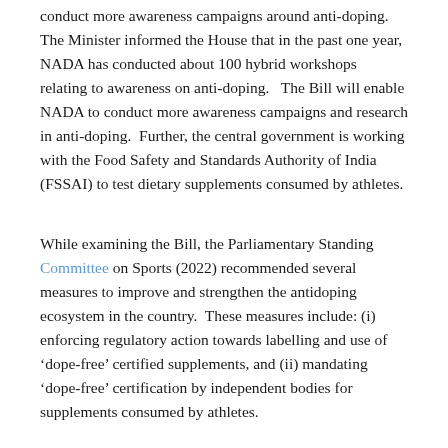conduct more awareness campaigns around anti-doping. The Minister informed the House that in the past one year, NADA has conducted about 100 hybrid workshops relating to awareness on anti-doping.   The Bill will enable NADA to conduct more awareness campaigns and research in anti-doping.  Further, the central government is working with the Food Safety and Standards Authority of India (FSSAI) to test dietary supplements consumed by athletes.
While examining the Bill, the Parliamentary Standing Committee on Sports (2022) recommended several measures to improve and strengthen the antidoping ecosystem in the country.  These measures include: (i) enforcing regulatory action towards labelling and use of ‘dope-free’ certified supplements, and (ii) mandating ‘dope-free’ certification by independent bodies for supplements consumed by athletes.